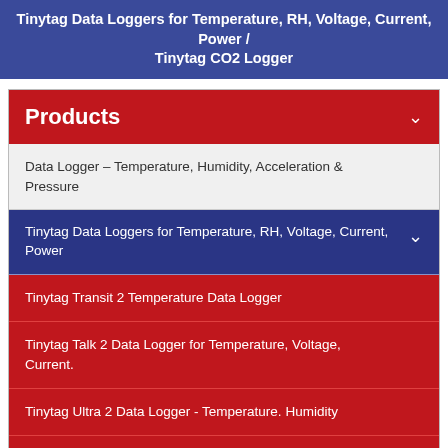Tinytag Data Loggers for Temperature, RH, Voltage, Current, Power / Tinytag CO2 Logger
Products
Data Logger – Temperature, Humidity, Acceleration & Pressure
Tinytag Data Loggers for Temperature, RH, Voltage, Current, Power
Tinytag Transit 2 Temperature Data Logger
Tinytag Talk 2 Data Logger for Temperature, Voltage, Current.
Tinytag Ultra 2 Data Logger - Temperature. Humidity
Tinytag Plus 2 Temperature & Humidity Data Logger
Tinytag View 2 Temperature & Humidity Data Logger with LCD Display